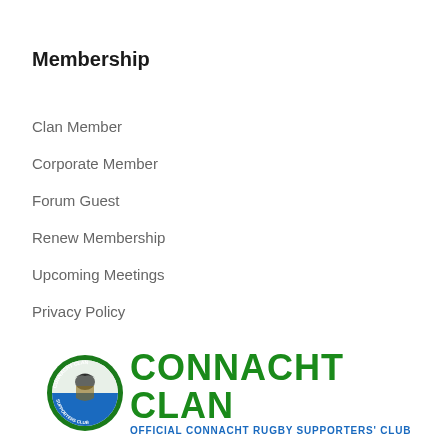Membership
Clan Member
Corporate Member
Forum Guest
Renew Membership
Upcoming Meetings
Privacy Policy
[Figure (logo): Connacht Clan logo — circular badge with eagle/shield on left, bold green text 'CONNACHT CLAN' and blue subtitle 'OFFICIAL CONNACHT RUGBY SUPPORTERS' CLUB']